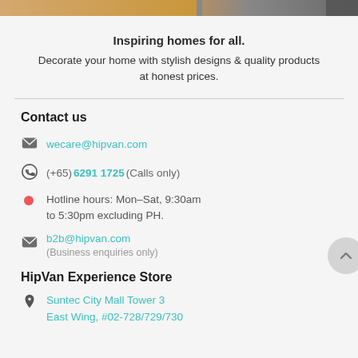[Figure (photo): Top banner strip with golden/tan gradient on left, partial image of furnishings on right]
Inspiring homes for all.
Decorate your home with stylish designs & quality products at honest prices.
Contact us
wecare@hipvan.com
(+65) 6291 1725 (Calls only)
Hotline hours: Mon–Sat, 9:30am to 5:30pm excluding PH.
b2b@hipvan.com
(Business enquiries only)
HipVan Experience Store
Suntec City Mall Tower 3
East Wing, #02-728/729/730